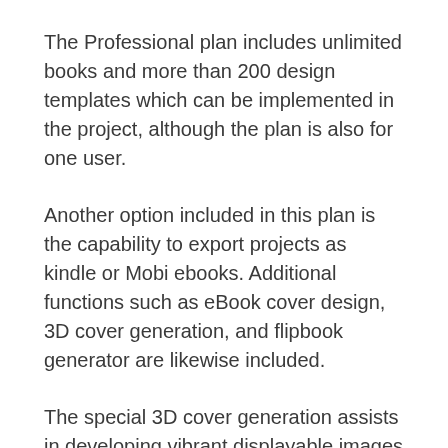The Professional plan includes unlimited books and more than 200 design templates which can be implemented in the project, although the plan is also for one user.
Another option included in this plan is the capability to export projects as kindle or Mobi ebooks. Additional functions such as eBook cover design, 3D cover generation, and flipbook generator are likewise included.
The special 3D cover generation assists in developing vibrant displayable images for signup forms.
Premium Plan